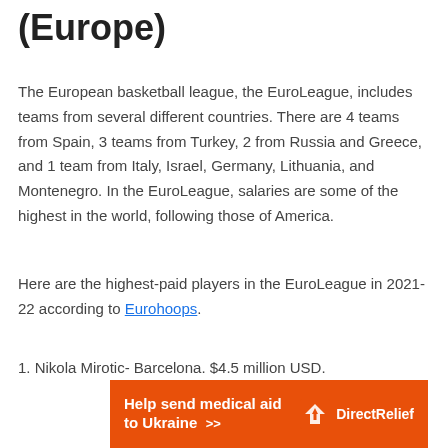(Europe)
The European basketball league, the EuroLeague, includes teams from several different countries. There are 4 teams from Spain, 3 teams from Turkey, 2 from Russia and Greece, and 1 team from Italy, Israel, Germany, Lithuania, and Montenegro. In the EuroLeague, salaries are some of the highest in the world, following those of America.
Here are the highest-paid players in the EuroLeague in 2021-22 according to Eurohoops.
1. Nikola Mirotic- Barcelona. $4.5 million USD.
[Figure (infographic): Orange advertisement banner for Direct Relief: 'Help send medical aid to Ukraine >>' with Direct Relief logo on the right.]